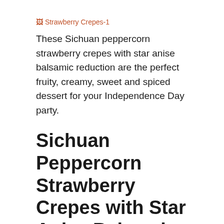[Figure (photo): Broken image placeholder labeled 'Strawberry Crepes-1']
These Sichuan peppercorn strawberry crepes with star anise balsamic reduction are the perfect fruity, creamy, sweet and spiced dessert for your Independence Day party.
Sichuan Peppercorn Strawberry Crepes with Star Anise Balsamic Reduction
Yield: 8 crepes
The crepes, balsamic reduction and strawberries can be made the day ahead and refridgerated but whipped cream shouldn't be made more than a few hours in advance. To simplify even further you can